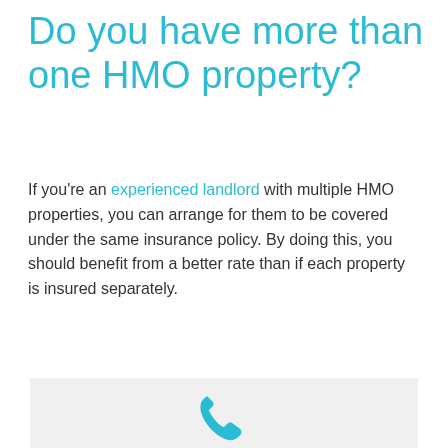Do you have more than one HMO property?
If you're an experienced landlord with multiple HMO properties, you can arrange for them to be covered under the same insurance policy. By doing this, you should benefit from a better rate than if each property is insured separately.
[Figure (infographic): Light grey call-to-action box with a teal telephone handset icon above the text 'Talk to the mortgage experts.']